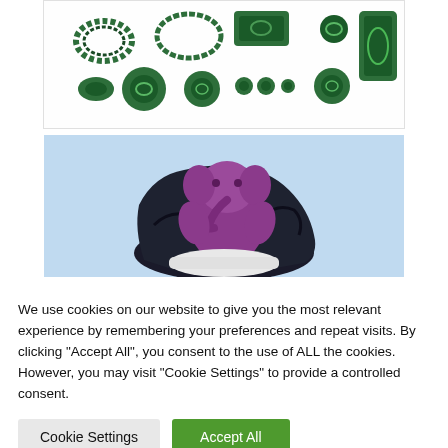[Figure (photo): Various malachite gemstone jewelry pieces and decorative items displayed on white background, including beaded necklaces, rings, buttons, spheres, and carved pieces in green tones with swirling patterns]
[Figure (photo): A purple/violet Ganesha sculpture carved into a dark black and green mineral rock, displayed on a white surface against light blue background]
We use cookies on our website to give you the most relevant experience by remembering your preferences and repeat visits. By clicking "Accept All", you consent to the use of ALL the cookies. However, you may visit "Cookie Settings" to provide a controlled consent.
Cookie Settings
Accept All